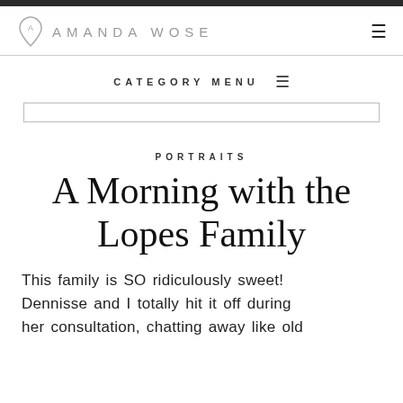AMANDA WOSE
CATEGORY MENU
PORTRAITS
A Morning with the Lopes Family
This family is SO ridiculously sweet! Dennisse and I totally hit it off during her consultation, chatting away like old